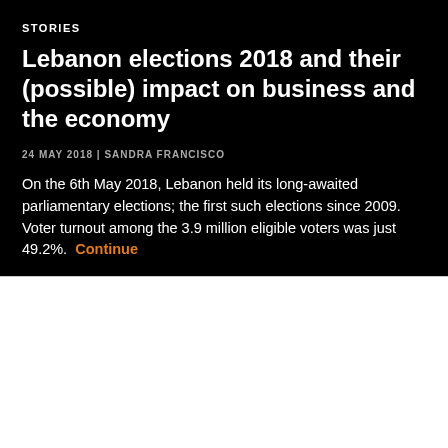STORIES
Lebanon elections 2018 and their (possible) impact on business and the economy
24 MAY 2018 | SANDRA FRANCISCO
On the 6th May 2018, Lebanon held its long-awaited parliamentary elections; the first such elections since 2009. Voter turnout among the 3.9 million eligible voters was just 49.2%. Continue
[Figure (logo): Organization logo with red vertical bar and stylized grey currency/cross symbol]